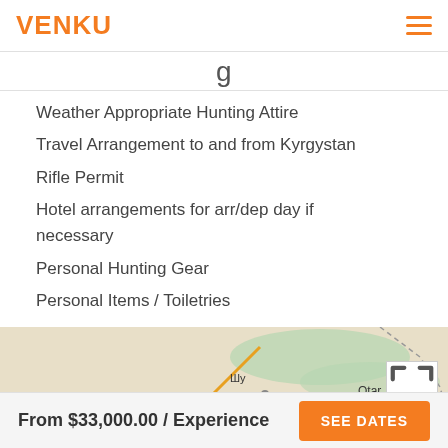VENKU
g
Weather Appropriate Hunting Attire
Travel Arrangement to and from Kyrgystan
Rifle Permit
Hotel arrangements for arr/dep day if necessary
Personal Hunting Gear
Personal Items / Toiletries
[Figure (map): Map showing area around Novyy Put / Жаңажол and Otar in Kyrgyzstan region]
From $33,000.00 / Experience